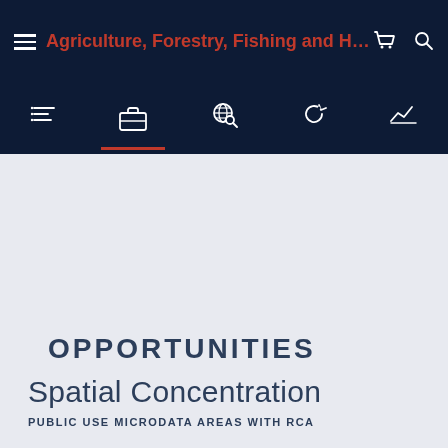Agriculture, Forestry, Fishing and Huntin...
[Figure (screenshot): Navigation icon row with list, briefcase, search, refresh, and chart icons on dark navy background]
OPPORTUNITIES
Spatial Concentration
PUBLIC USE MICRODATA AREAS WITH RCA